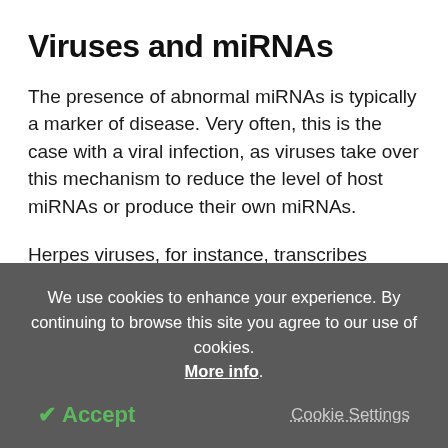Viruses and miRNAs
The presence of abnormal miRNAs is typically a marker of disease. Very often, this is the case with a viral infection, as viruses take over this mechanism to reduce the level of host miRNAs or produce their own miRNAs.
Herpes viruses, for instance, transcribes certain sequences that lead to the selective decay of some host miRNAs through a process known as target-
We use cookies to enhance your experience. By continuing to browse this site you agree to our use of cookies. More info.
✔ Accept   Cookie Settings